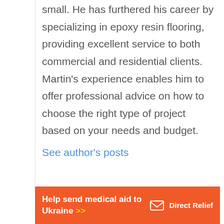small. He has furthered his career by specializing in epoxy resin flooring, providing excellent service to both commercial and residential clients. Martin's experience enables him to offer professional advice on how to choose the right type of project based on your needs and budget.
See author's posts
[Figure (infographic): Orange advertisement banner: 'Help send medical aid to Ukraine >>' with Direct Relief logo on the right]